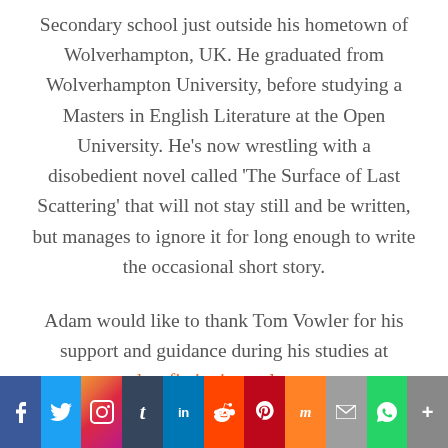Secondary school just outside his hometown of Wolverhampton, UK. He graduated from Wolverhampton University, before studying a Masters in English Literature at the Open University. He's now wrestling with a disobedient novel called 'The Surface of Last Scattering' that will not stay still and be written, but manages to ignore it for long enough to write the occasional short story.
Adam would like to thank Tom Vowler for his support and guidance during his studies at shortfictionjournal.com.
[Figure (other): Social media sharing bar with buttons for Facebook, Twitter, Instagram, Tumblr, LinkedIn, Reddit, Pinterest, Mix, Email, WhatsApp, and More]